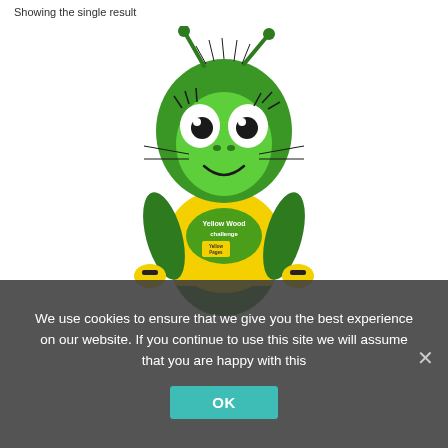Showing the single result
[Figure (photo): Green insect mascot character wearing a yellow t-shirt with 'Yellow Wood Challenge' and Yellow Pages logo on it, with large eyes, antennae, and whiskers.]
We use cookies to ensure that we give you the best experience on our website. If you continue to use this site we will assume that you are happy with this
OK